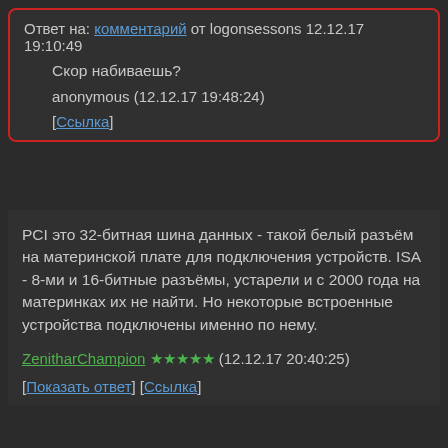Ответ на: комментарий от logonsessons 12.12.17 19:10:49
Скор набиваешь?
anonymous (12.12.17 19:48:24)
[Ссылка]
PCI это 32-битная шина данных - такой белый разъём на материнской плате для подключения устройств. ISA - 8-ми и 16-битные разъёмы, устарели и с 2000 года на материнках их не найти. Но некоторые встроенные устройства подключены именно по нему.
ZenitharChampion ★★★★★ (12.12.17 20:40:25)
[Показать ответ] [Ссылка]